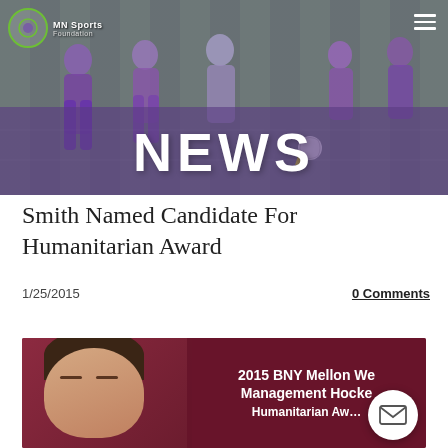[Figure (photo): Hero banner showing people playing soccer on a field, with a purple overlay and the word NEWS displayed prominently in white bold text. A website logo and hamburger menu are visible in the top corners.]
Smith Named Candidate For Humanitarian Award
1/25/2015
0 Comments
[Figure (photo): Image of a man's face on a dark red background with white text reading '2015 BNY Mellon Wealth Management Hockey Humanitarian Award'. An email/envelope icon button is overlaid in the bottom right corner.]